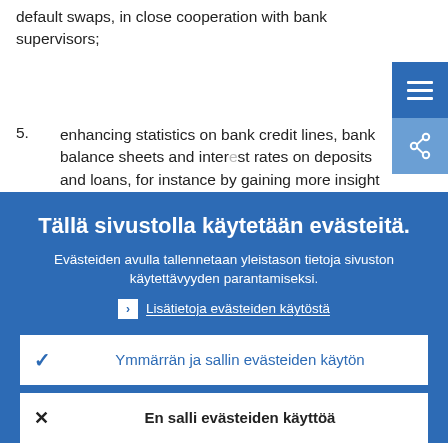default swaps, in close cooperation with bank supervisors;
5.   enhancing statistics on bank credit lines, bank balance sheets and interest rates on deposits and loans, for instance by gaining more insight into
Tällä sivustolla käytetään evästeitä.
Evästeiden avulla tallennetaan yleistason tietoja sivuston käytettävyyden parantamiseksi.
Lisätietoja evästeiden käytöstä
Ymmärrän ja sallin evästeiden käytön
En salli evästeiden käyttöä